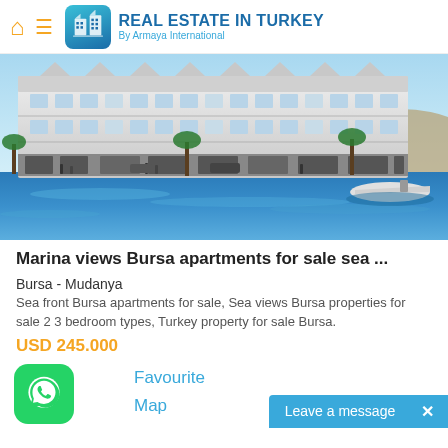REAL ESTATE IN TURKEY By Armaya International
[Figure (photo): Exterior rendering of a large modern waterfront apartment building with multiple floors and balconies, viewed from the water with a speedboat in the foreground and hills in the background.]
Marina views Bursa apartments for sale sea ...
Bursa - Mudanya
Sea front Bursa apartments for sale, Sea views Bursa properties for sale 2 3 bedroom types, Turkey property for sale Bursa.
USD 245.000
Favourite
Map
Leave a message  ×